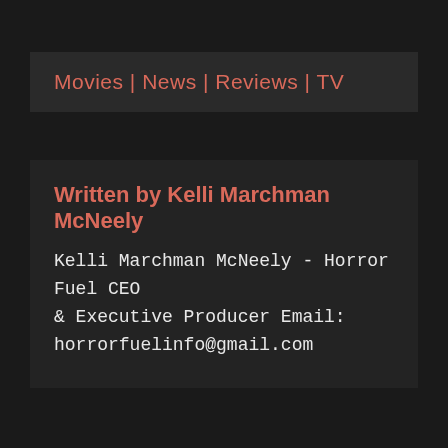Movies | News | Reviews | TV
Written by Kelli Marchman McNeely
Kelli Marchman McNeely - Horror Fuel CEO & Executive Producer Email: horrorfuelinfo@gmail.com